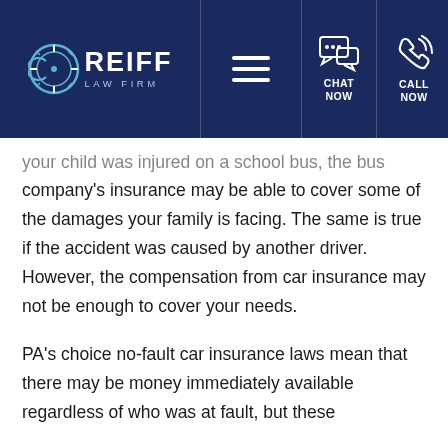REIFF LAW FIRM — CHAT NOW | CALL NOW
your child was injured on a school bus, the bus company's insurance may be able to cover some of the damages your family is facing.  The same is true if the accident was caused by another driver.  However, the compensation from car insurance may not be enough to cover your needs.
PA's choice no-fault car insurance laws mean that there may be money immediately available regardless of who was at fault, but these